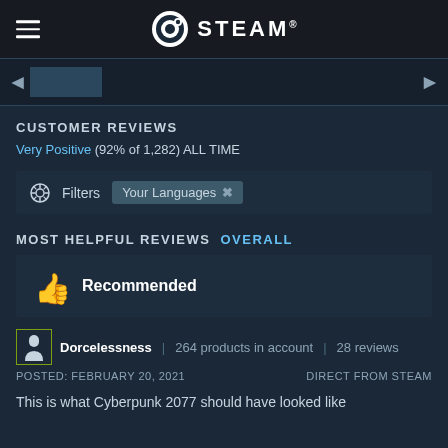STEAM
[Figure (screenshot): Steam navigation bar with hamburger menu and Steam logo]
CUSTOMER REVIEWS
Very Positive (92% of 1,282) ALL TIME
Filters  Your Languages
MOST HELPFUL REVIEWS  OVERALL
Recommended
Dorcelessness  264 products in account  28 reviews
POSTED: FEBRUARY 20, 2021  DIRECT FROM STEAM
This is what Cyberpunk 2077 should have looked like